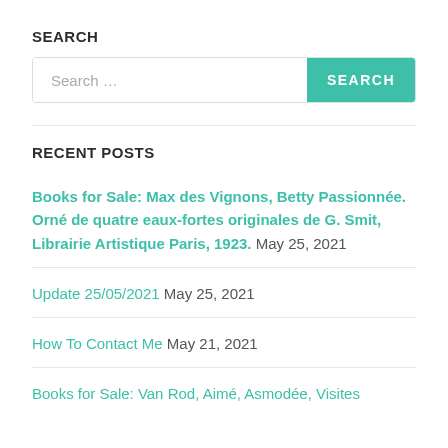SEARCH
[Figure (other): Search input bar with placeholder text 'Search ...' and a teal SEARCH button]
RECENT POSTS
Books for Sale: Max des Vignons, Betty Passionnée. Orné de quatre eaux-fortes originales de G. Smit, Librairie Artistique Paris, 1923.  May 25, 2021
Update 25/05/2021  May 25, 2021
How To Contact Me  May 21, 2021
Books for Sale: Van Rod, Aimé, Asmodée, Visites